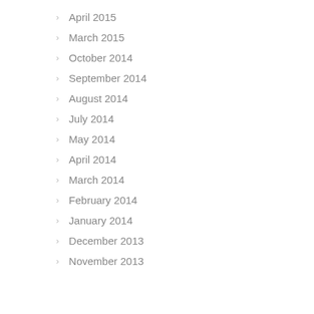April 2015
March 2015
October 2014
September 2014
August 2014
July 2014
May 2014
April 2014
March 2014
February 2014
January 2014
December 2013
November 2013